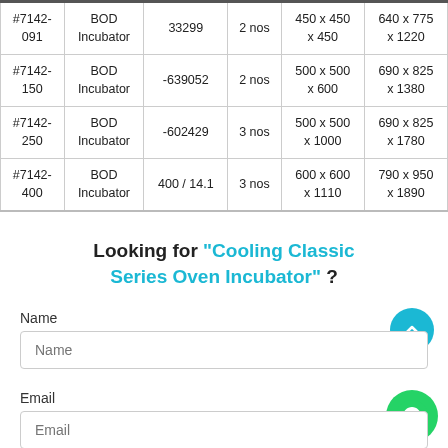| Model | Product | Volume (L / Cu.Ft) | Qty | Inner Dim (mm) | Outer Dim (mm) |
| --- | --- | --- | --- | --- | --- |
| #7142-091 | BOD Incubator | 33299 | 2 nos | 450 x 450 x 450 | 640 x 775 x 1220 |
| #7142-150 | BOD Incubator | -639052 | 2 nos | 500 x 500 x 600 | 690 x 825 x 1380 |
| #7142-250 | BOD Incubator | -602429 | 3 nos | 500 x 500 x 1000 | 690 x 825 x 1780 |
| #7142-400 | BOD Incubator | 400 / 14.1 | 3 nos | 600 x 600 x 1110 | 790 x 950 x 1890 |
Looking for "Cooling Classic Series Oven Incubator" ?
Name
Email